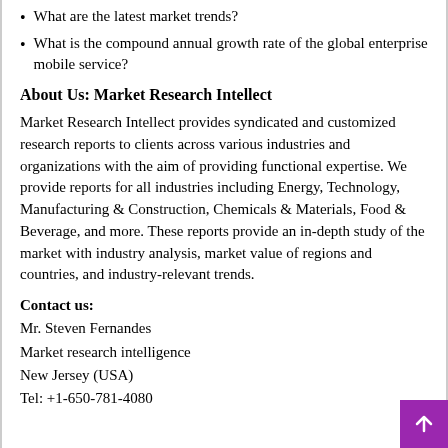What are the latest market trends?
What is the compound annual growth rate of the global enterprise mobile service?
About Us: Market Research Intellect
Market Research Intellect provides syndicated and customized research reports to clients across various industries and organizations with the aim of providing functional expertise. We provide reports for all industries including Energy, Technology, Manufacturing & Construction, Chemicals & Materials, Food & Beverage, and more. These reports provide an in-depth study of the market with industry analysis, market value of regions and countries, and industry-relevant trends.
Contact us:
Mr. Steven Fernandes
Market research intelligence
New Jersey (USA)
Tel: +1-650-781-4080